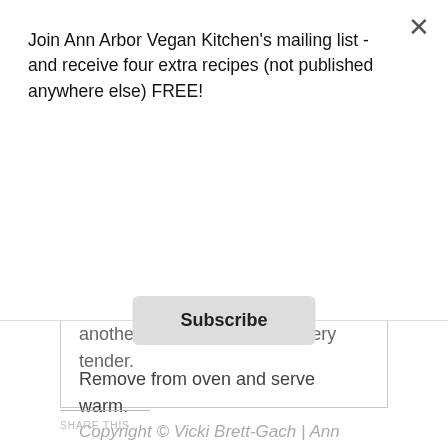Join Ann Arbor Vegan Kitchen's mailing list - and receive four extra recipes (not published anywhere else) FREE!
Subscribe
another 20 minutes, or until very tender.
Remove from oven and serve warm.
Copyright © Vicki Brett-Gach | Ann Arbor Vegan Kitchen
SHARE THIS